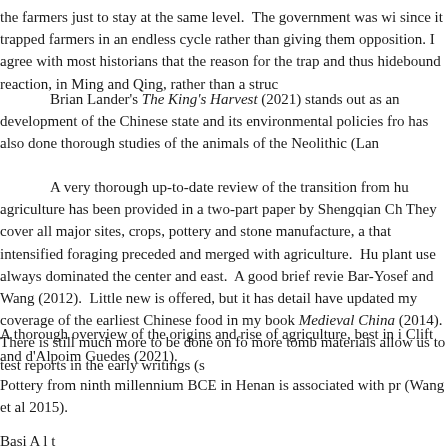the farmers just to stay at the same level.  The government was wi since it trapped farmers in an endless cycle rather than giving them opposition. I agree with most historians that the reason for the trap and thus hidebound reaction, in Ming and Qing, rather than a struc
Brian Lander's The King's Harvest (2021) stands out as an development of the Chinese state and its environmental policies fro has also done thorough studies of the animals of the Neolithic (Lan
A very thorough up-to-date review of the transition from hu agriculture has been provided in a two-part paper by Shengqian Ch They cover all major sites, crops, pottery and stone manufacture, a that intensified foraging preceded and merged with agriculture.  Hu plant use always dominated the center and east.  A good brief revie Bar-Yosef and Wang (2012).  Little new is offered, but it has detail have updated my coverage of the earliest Chinese food in my book Medieval China (2014).  There is still much more to be done on fo more tomb materials allow us to test reports in the early writings (s
A thorough overview of the origins and rise of agriculture, best in i Clift and d'Alpoim Guedes (2021).
Pottery from ninth millennium BCE in Henan is associated with pr (Wang et al 2015).
Basi A l t